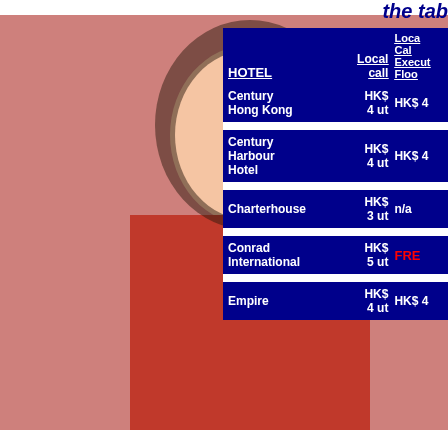[Figure (photo): Young woman in red sports jersey making peace sign, smiling]
[Figure (photo): Jockey in red and yellow striped silks riding a dark horse]
[Figure (photo): Partial view of a sailing boat mast against sky]
the tab
| HOTEL | Local call | Local Call Executive Floor |
| --- | --- | --- |
| Century Hong Kong | HK$ 4 ut | HK$ 4 |
| Century Harbour Hotel | HK$ 4 ut | HK$ 4 |
| Charterhouse | HK$ 3 ut | n/a |
| Conrad International | HK$ 5 ut | FREE |
| Empire | HK$ 4 ut | HK$ 4 |